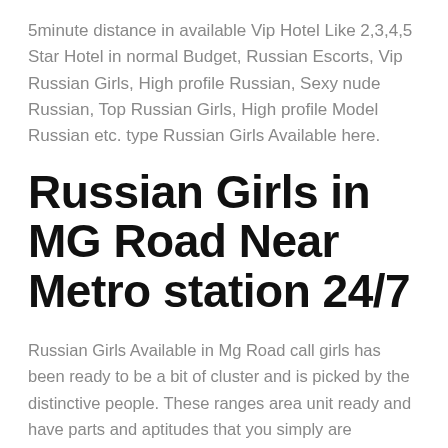5minute distance in available Vip Hotel Like 2,3,4,5 Star Hotel in normal Budget, Russian Escorts, Vip Russian Girls, High profile Russian, Sexy nude Russian, Top Russian Girls, High profile Model Russian etc. type Russian Girls Available here.
Russian Girls in MG Road Near Metro station 24/7
Russian Girls Available in Mg Road call girls has been ready to be a bit of cluster and is picked by the distinctive people. These ranges area unit ready and have parts and aptitudes that you simply are